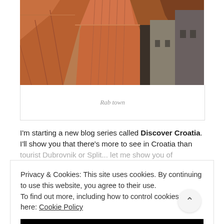[Figure (photo): Aerial view of Rab town with terracotta/orange tile rooftops and stone buildings]
Rab town
I'm starting a new blog series called Discover Croatia. I'll show you that there's more to see in Croatia than...
Privacy & Cookies: This site uses cookies. By continuing to use this website, you agree to their use.
To find out more, including how to control cookies, see here: Cookie Policy
CLOSE AND ACCEPT